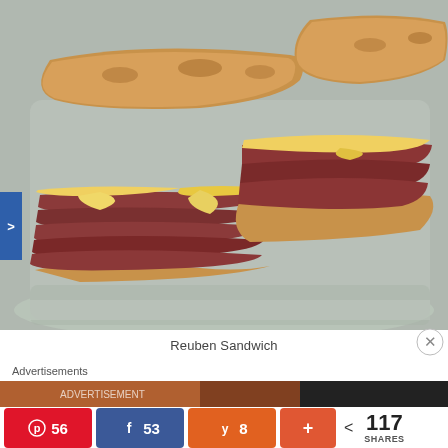[Figure (photo): Close-up photo of a Reuben Sandwich cut in half, showing layers of corned beef, melted Swiss cheese on toasted rye bread, served on a light blue/grey rectangular plate.]
Reuben Sandwich
Advertisements
56  53  8  +  < 117 SHARES